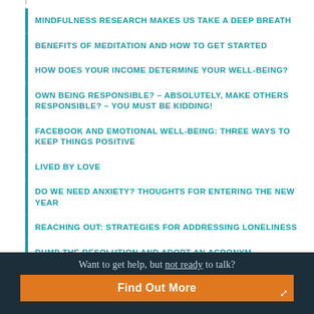MINDFULNESS RESEARCH MAKES US TAKE A DEEP BREATH
BENEFITS OF MEDITATION AND HOW TO GET STARTED
HOW DOES YOUR INCOME DETERMINE YOUR WELL-BEING?
OWN BEING RESPONSIBLE? – ABSOLUTELY, MAKE OTHERS RESPONSIBLE? – YOU MUST BE KIDDING!
FACEBOOK AND EMOTIONAL WELL-BEING: THREE WAYS TO KEEP THINGS POSITIVE
LIVED BY LOVE
DO WE NEED ANXIETY? THOUGHTS FOR ENTERING THE NEW YEAR
REACHING OUT: STRATEGIES FOR ADDRESSING LONELINESS
DUMP THE RESOLUTION AND ADOPT AN ACRONYM
Want to get help, but not ready to talk?
Find Out More